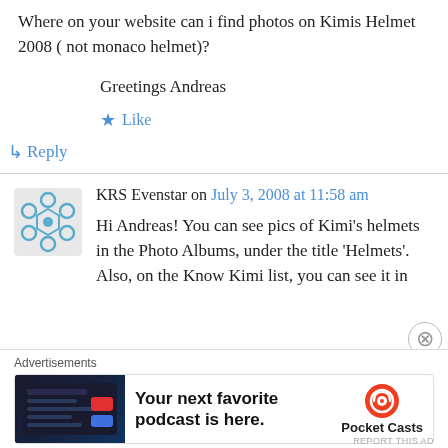Where on your website can i find photos on Kimis Helmet 2008 ( not monaco helmet)?
Greetings Andreas
★ Like
↳ Reply
KRS Evenstar on July 3, 2008 at 11:58 am
Hi Andreas! You can see pics of Kimi's helmets in the Photo Albums, under the title 'Helmets'. Also, on the Know Kimi list, you can see it in
[Figure (infographic): Pocket Casts podcast advertisement banner with dark app screenshot image on left and text 'Your next favorite podcast is here.' with Pocket Casts logo on right]
Advertisements